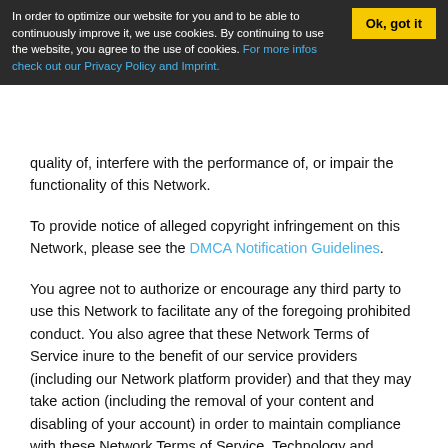In order to optimize our website for you and to be able to continuously improve it, we use cookies. By continuing to use the website, you agree to the use of cookies. For more infos check out our Privacy Policy and Imprint.
Ok, got it
quality of, interfere with the performance of, or impair the functionality of this Network.
To provide notice of alleged copyright infringement on this Network, please see the DMCA Notification Guidelines.
You agree not to authorize or encourage any third party to use this Network to facilitate any of the foregoing prohibited conduct. You also agree that these Network Terms of Service inure to the benefit of our service providers (including our Network platform provider) and that they may take action (including the removal of your content and disabling of your account) in order to maintain compliance with these Network Terms of Service. Technology and hosting for aspects of this Network are provided by this Network's online service provider. However, the Network Creator of this Network controls the content, membership and policy of this Network, including those pages served by such service provider on behalf of this Network.